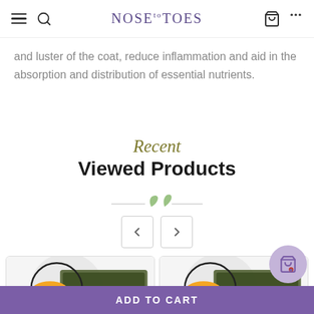Nose to Toes - navigation header
and luster of the coat, reduce inflammation and aid in the absorption and distribution of essential nutrients.
Recent
Viewed Products
[Figure (illustration): Two decorative green leaf icons with horizontal lines forming a divider]
[Figure (illustration): Left and right carousel navigation arrow buttons]
[Figure (photo): Two Big Country product card thumbnails at the bottom of the page]
ADD TO CART